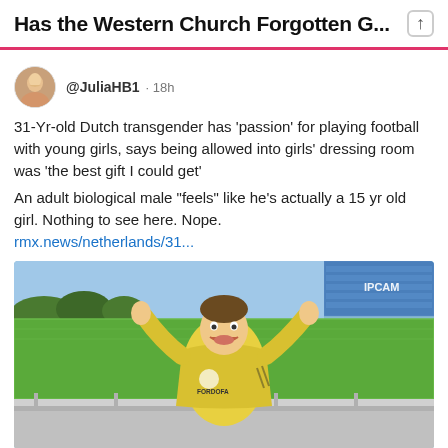Has the Western Church Forgotten G...
@JuliaHB1 · 18h
31-Yr-old Dutch transgender has 'passion' for playing football with young girls, says being allowed into girls' dressing room was 'the best gift I could get'

An adult biological male "feels" like he's actually a 15 yr old girl. Nothing to see here. Nope.
rmx.news/netherlands/31...
[Figure (photo): Person in yellow football/soccer jersey with arms raised giving thumbs up, standing in front of a football pitch with blue stadium seating visible in background. Text 'IPCAM' visible in upper right corner. Person is smiling.]